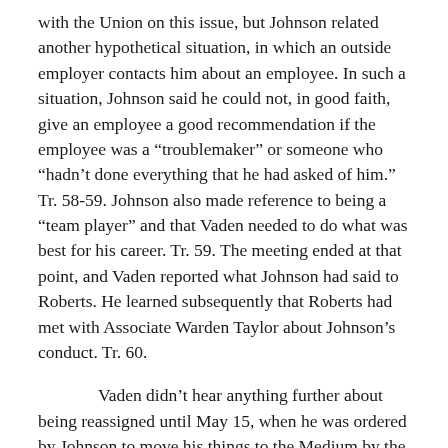with the Union on this issue, but Johnson related another hypothetical situation, in which an outside employer contacts him about an employee. In such a situation, Johnson said he could not, in good faith, give an employee a good recommendation if the employee was a “troulemaker” or someone who “hadnt done everything that he had asked of him.” Tr. 58-59. Johnson also made reference to being a “team player” and that Vaden needed to do what was best for his career. Tr. 59. The meeting ended at that point, and Vaden reported what Johnson had said to Roberts. He learned subsequently that Roberts had met with Associate Warden Taylor about Johnson’s conduct. Tr. 60.
Vaden didn’t hear anything further about being reassigned until May 15, when he was ordered by Johnson to move his things to the Medium by the following day. Vaden was unaware that Agency management had sent a notice to the Union on April 10 regarding his reassignment. Tr. 81-82. Vaden